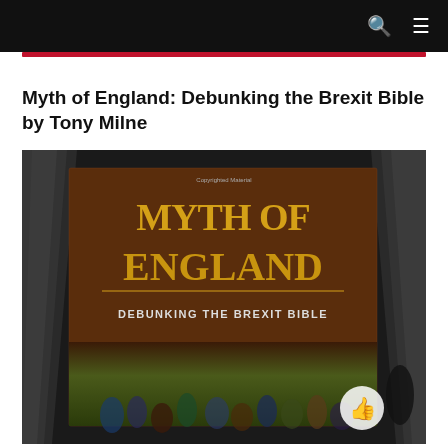Myth of England: Debunking the Brexit Bible by Tony Milne
[Figure (photo): Book cover of 'Myth of England: Debunking the Brexit Bible' showing gold lettering on a brown background with medieval battle scene at the bottom and a thumbs-up icon overlay]